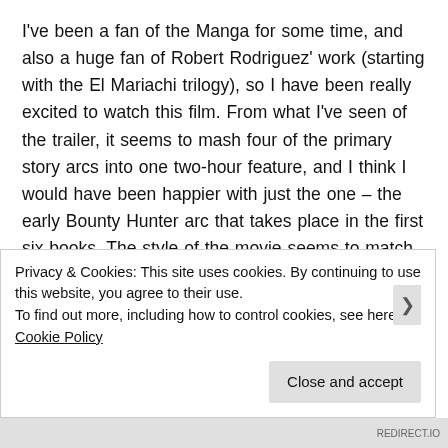I've been a fan of the Manga for some time, and also a huge fan of Robert Rodriguez' work (starting with the El Mariachi trilogy), so I have been really excited to watch this film. From what I've seen of the trailer, it seems to mash four of the primary story arcs into one two-hour feature, and I think I would have been happier with just the one – the early Bounty Hunter arc that takes place in the first six books. The style of the movie seems to match the style of the Manga, which is downright difficult outside of the Anime arena. Long story short, however, I have the digital movie with all the extras (thank you, Amazon) and still haven't watched it (thank...
Privacy & Cookies: This site uses cookies. By continuing to use this website, you agree to their use.
To find out more, including how to control cookies, see here: Cookie Policy
Close and accept